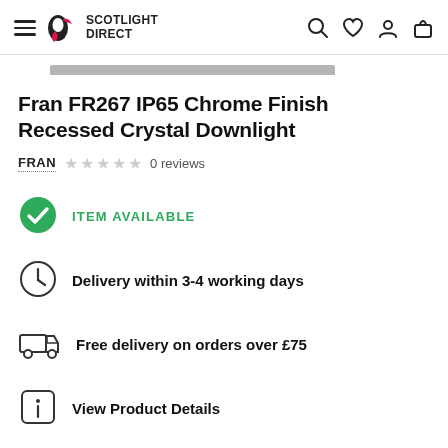Scotlight Direct — navigation header with hamburger menu, logo, search, wishlist, account, and cart icons
[Figure (screenshot): Partial product image strip — grey scrollbar or image placeholder at top]
Fran FR267 IP65 Chrome Finish Recessed Crystal Downlight
FRAN  ★ ★ ★ ★ ★  0 reviews
ITEM AVAILABLE
Delivery within 3-4 working days
Free delivery on orders over £75
View Product Details